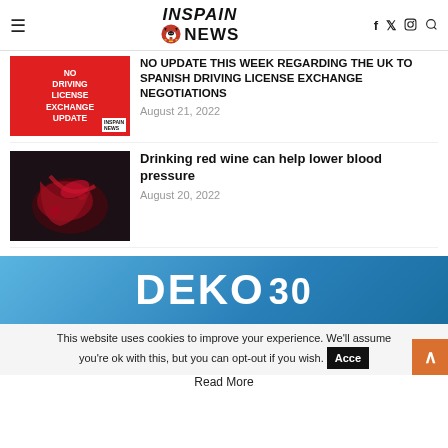IN SPAIN NEWS
NO UPDATE THIS WEEK REGARDING THE UK TO SPANISH DRIVING LICENSE EXCHANGE NEGOTIATIONS
August 21, 2022
[Figure (photo): Red background with white text: NO DRIVING LICENSE EXCHANGE UPDATE with In Spain News logo]
Drinking red wine can help lower blood pressure
August 20, 2022
[Figure (photo): Close-up photo of red wine being poured into a glass]
[Figure (logo): DEKO 30 advertisement banner on blue gradient background]
This website uses cookies to improve your experience. We'll assume you're ok with this, but you can opt-out if you wish.
Read More